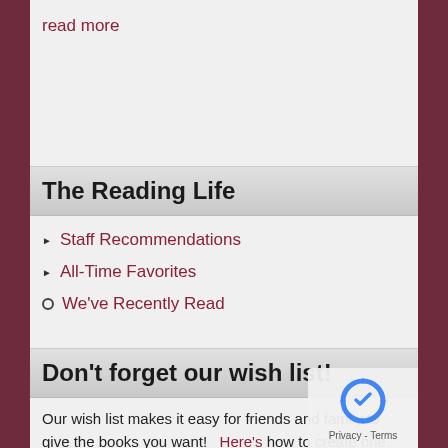read more
The Reading Life
Staff Recommendations
All-Time Favorites
We've Recently Read
Don't forget our wish list!
Our wish list makes it easy for friends and family to give the books you want! Here's how to create one.
Your friends can access your list using your e-mail address